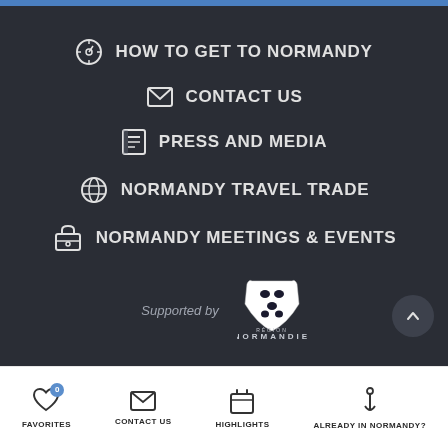HOW TO GET TO NORMANDY
CONTACT US
PRESS AND MEDIA
NORMANDY TRAVEL TRADE
NORMANDY MEETINGS & EVENTS
Supported by
[Figure (logo): Région Normandie logo — shield with lions, text RÉGION NORMANDIE]
FAVORITES  CONTACT US  HIGHLIGHTS  ALREADY IN NORMANDY?